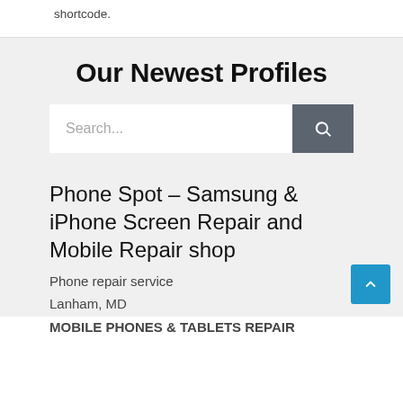shortcode.
Our Newest Profiles
Search...
Phone Spot – Samsung & iPhone Screen Repair and Mobile Repair shop
Phone repair service
Lanham, MD
MOBILE PHONES & TABLETS REPAIR